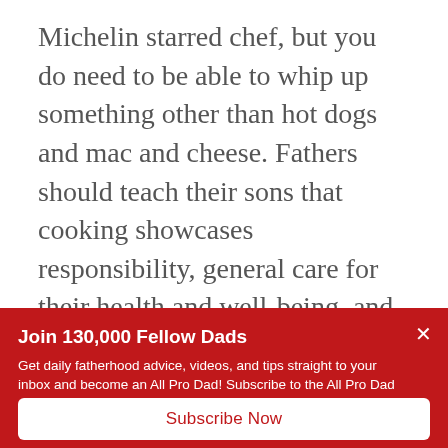Michelin starred chef, but you do need to be able to whip up something other than hot dogs and mac and cheese. Fathers should teach their sons that cooking showcases responsibility, general care for their health and well-being, and is a powerful way to practice the lost arts of focus and attention
Join 130,000 Fellow Dads
Get daily fatherhood advice, videos, and tips straight to your inbox and become an All Pro Dad! Subscribe to the All Pro Dad Play of the Day below.
Subscribe Now